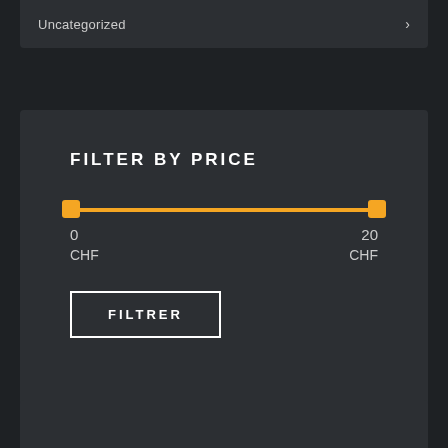Uncategorized
FILTER BY PRICE
0
CHF
20
CHF
FILTRER